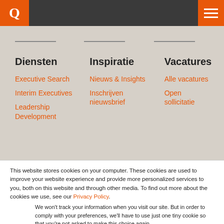[Figure (logo): Q logo in orange box on dark navigation bar with hamburger menu icon on right]
Diensten
Executive Search
Interim Executives
Leadership Development
Inspiratie
Nieuws & Insights
Inschrijven nieuwsbrief
Vacatures
Alle vacatures
Open sollicitatie
This website stores cookies on your computer. These cookies are used to improve your website experience and provide more personalized services to you, both on this website and through other media. To find out more about the cookies we use, see our Privacy Policy.
We won't track your information when you visit our site. But in order to comply with your preferences, we'll have to use just one tiny cookie so that you're not asked to make this choice again.